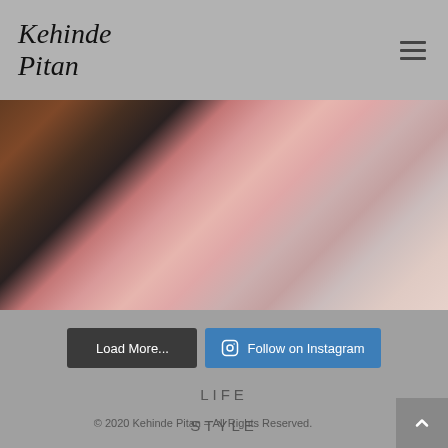Kehinde Pitan
[Figure (photo): Partial photo of a woman wearing a pink outfit with curly burgundy and blonde hair and a silver necklace, cropped showing neck and shoulder area]
Load More...
Follow on Instagram
LIFE
STYLE
TRAVEL
[Figure (logo): Social media icons: Facebook, YouTube, Instagram]
© 2020 Kehinde Pitan – All Rights Reserved.